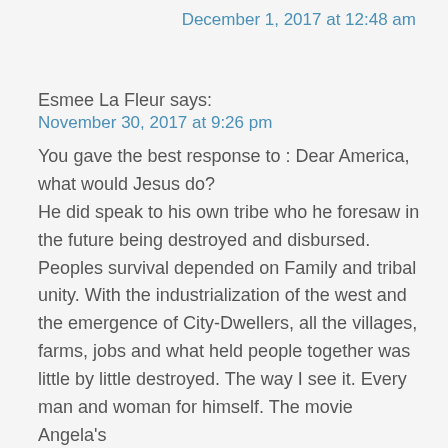December 1, 2017 at 12:48 am
Esmee La Fleur says:
November 30, 2017 at 9:26 pm
You gave the best response to : Dear America, what would Jesus do? He did speak to his own tribe who he foresaw in the future being destroyed and disbursed. Peoples survival depended on Family and tribal unity. With the industrialization of the west and the emergence of City-Dwellers, all the villages, farms, jobs and what held people together was little by little destroyed. The way I see it. Every man and woman for himself. The movie Angela's